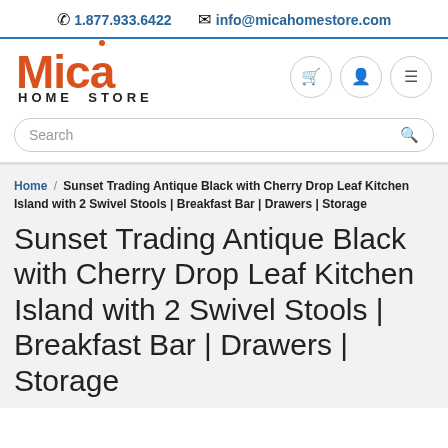1.877.933.6422  info@micahomestore.com
[Figure (logo): Mica Home Store logo in orange/red with 'HOME STORE' text below]
Search
Home / Sunset Trading Antique Black with Cherry Drop Leaf Kitchen Island with 2 Swivel Stools | Breakfast Bar | Drawers | Storage
Sunset Trading Antique Black with Cherry Drop Leaf Kitchen Island with 2 Swivel Stools | Breakfast Bar | Drawers | Storage